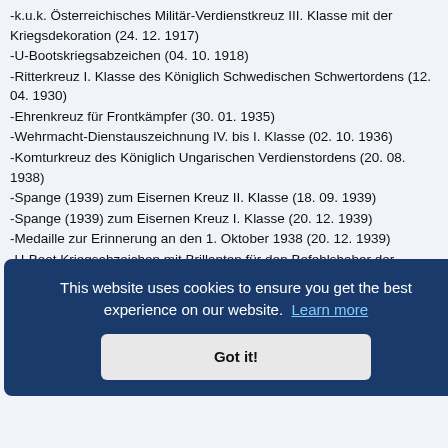-k.u.k. Österreichisches Militär-Verdienstkreuz III. Klasse mit der Kriegsdekoration (24. 12. 1917)
-U-Bootskriegsabzeichen (04. 10. 1918)
-Ritterkreuz I. Klasse des Königlich Schwedischen Schwertordens (12. 04. 1930)
-Ehrenkreuz für Frontkämpfer (30. 01. 1935)
-Wehrmacht-Dienstauszeichnung IV. bis I. Klasse (02. 10. 1936)
-Komturkreuz des Königlich Ungarischen Verdienstordens (20. 08. 1938)
-Spange (1939) zum Eisernen Kreuz II. Klasse (18. 09. 1939)
-Spange (1939) zum Eisernen Kreuz I. Klasse (20. 12. 1939)
-Medaille zur Erinnerung an den 1. Oktober 1938 (20. 12. 1939)
-U-Boot Kriegsabzeichen mit Brillanten für den Befehlshaber der Unterseeboote (27. 02. 1940)
-Ritterkreuz des Königlich Italienischen Militärordens vom Hause Savoyen (20. 04. 1940)
-Großkreuz des Königlich Spanischen Ordens für Verdienste zur See mit
...e
...2. 04.
...2. 04.
...sse am großen Band (11. 09. 1943)
[Figure (screenshot): Cookie consent banner overlay with dark blue background reading 'This website uses cookies to ensure you get the best experience on our website. Learn more' and a 'Got it!' button.]